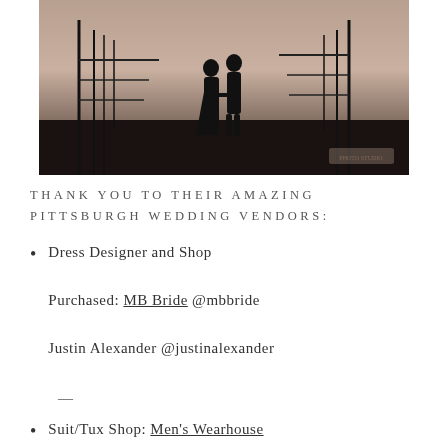[Figure (photo): Silhouette of a couple holding hands at sunset/dusk, standing on what appears to be a bridge or elevated structure with metal framework visible in the background.]
THANK YOU TO THEIR AMAZING PITTSBURGH WEDDING VENDORS:
Dress Designer and Shop Purchased: MB Bride @mbbride
Justin Alexander @justinalexander
—
Suit/Tux Shop: Men's Wearhouse @menswearhouse –